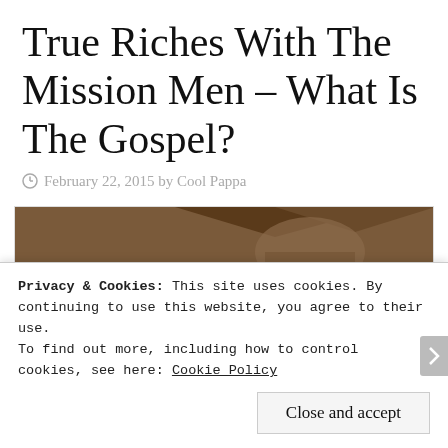True Riches With The Mission Men – What Is The Gospel?
February 22, 2015 by Cool Pappa
[Figure (photo): Church marquee sign reading 'The Bible Says. WHAT MUST I DO TO BE SAVED?' with a brick building in the background]
Privacy & Cookies: This site uses cookies. By continuing to use this website, you agree to their use.
To find out more, including how to control cookies, see here: Cookie Policy
Close and accept